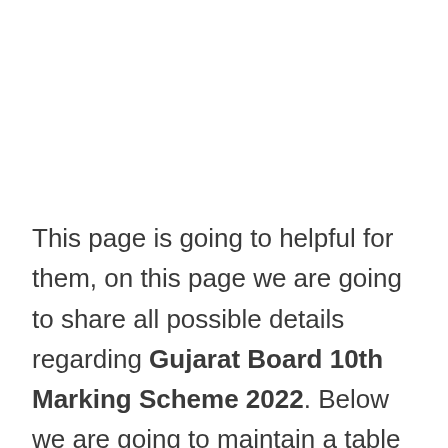This page is going to helpful for them, on this page we are going to share all possible details regarding Gujarat Board 10th Marking Scheme 2022. Below we are going to maintain a table through this you can get Subject wise GSEB Board Exam Pattern 2022. For more detail and Information students are advised to read whole article